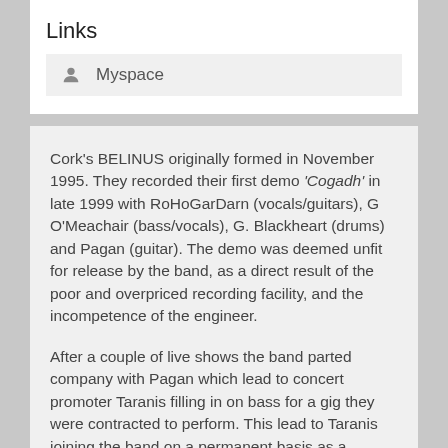Links
Myspace
Cork’s BELINUS originally formed in November 1995. They recorded their first demo ‘Cogadh’ in late 1999 with RoHoGarDarn (vocals/guitars), G O’Meachair (bass/vocals), G. Blackheart (drums) and Pagan (guitar). The demo was deemed unfit for release by the band, as a direct result of the poor and overpriced recording facility, and the incompetence of the engineer.
After a couple of live shows the band parted company with Pagan which lead to concert promoter Taranis filling in on bass for a gig they were contracted to perform. This lead to Taranis joining the band on a permanent basis as a guitarist. After performing numerous gigs with this line up, BELINUS entered BPM studios in Cork to